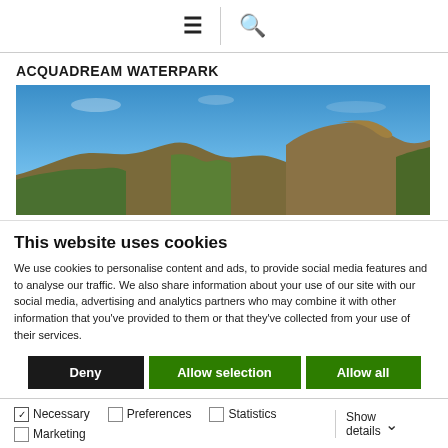≡  🔍
ACQUADREAM WATERPARK
[Figure (photo): Panoramic landscape photo showing rocky hills and Mediterranean scrubland under a clear blue sky]
This website uses cookies
We use cookies to personalise content and ads, to provide social media features and to analyse our traffic. We also share information about your use of our site with our social media, advertising and analytics partners who may combine it with other information that you've provided to them or that they've collected from your use of their services.
Deny | Allow selection | Allow all
☑ Necessary  ☐ Preferences  ☐ Statistics  ☐ Marketing  Show details ∨